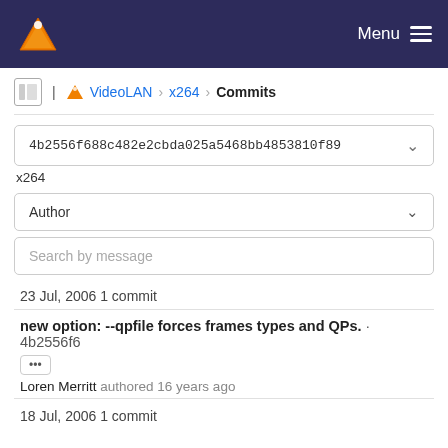VLC Menu
VideoLAN > x264 > Commits
4b2556f688c482e2cbda025a5468bb4853810f89
x264
Author
Search by message
23 Jul, 2006 1 commit
new option: --qpfile forces frames types and QPs. · 4b2556f6
••• 
Loren Merritt authored 16 years ago
18 Jul, 2006 1 commit